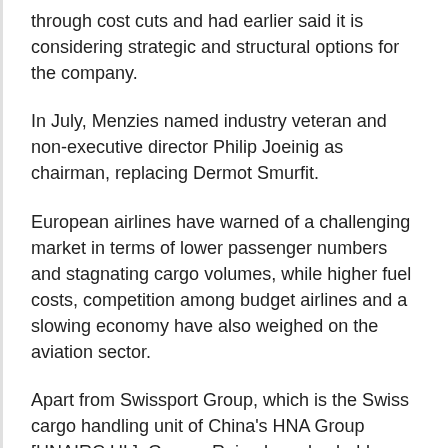through cost cuts and had earlier said it is considering strategic and structural options for the company.
In July, Menzies named industry veteran and non-executive director Philip Joeinig as chairman, replacing Dermot Smurfit.
European airlines have warned of a challenging market in terms of lower passenger numbers and stagnating cargo volumes, while higher fuel costs, competition among budget airlines and a slowing economy have also weighed on the aviation sector.
Apart from Swissport Group, which is the Swiss cargo handling unit of China's HNA Group [HNAIRC.UL], Gomez-Reino has also held finance positions at Amey plc and Ferrovial.